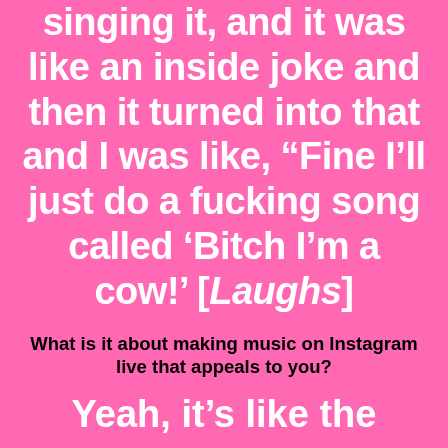singing it, and it was like an inside joke and then it turned into that and I was like, “Fine I’ll just do a fucking song called ‘Bitch I’m a cow!’ [Laughs]
What is it about making music on Instagram live that appeals to you?
Yeah, it’s like the